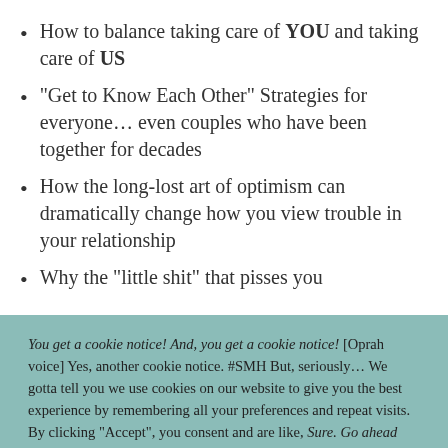How to balance taking care of YOU and taking care of US
“Get to Know Each Other” Strategies for everyone… even couples who have been together for decades
How the long-lost art of optimism can dramatically change how you view trouble in your relationship
Why the “little shit” that pisses you
You get a cookie notice! And, you get a cookie notice! [Oprah voice] Yes, another cookie notice. #SMH But, seriously… We gotta tell you we use cookies on our website to give you the best experience by remembering all your preferences and repeat visits. By clicking “Accept”, you consent and are like, Sure. Go ahead and use ALL of the cookies.
Cookie settings  ACCEPT